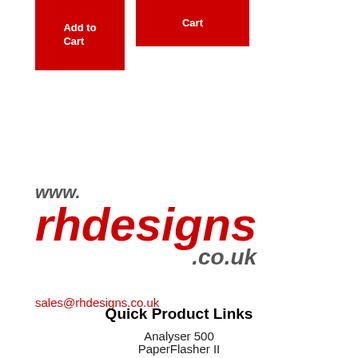[Figure (other): Red Add to Cart button (left)]
[Figure (other): Red Cart button (right)]
[Figure (logo): www.rhdesigns.co.uk logo in red and grey italic text]
sales@rhdesigns.co.uk
Quick Product Links
Analyser 500
PaperFlasher II
ProcessMasterII